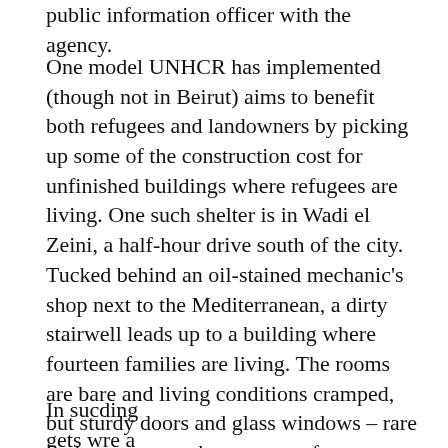public information officer with the agency.
One model UNHCR has implemented (though not in Beirut) aims to benefit both refugees and landowners by picking up some of the construction cost for unfinished buildings where refugees are living. One such shelter is in Wadi el Zeini, a half-hour drive south of the city. Tucked behind an oil-stained mechanic’s shop next to the Mediterranean, a dirty stairwell leads up to a building where fourteen families are living. The rooms are bare and living conditions cramped, but sturdy doors and glass windows – rare in the structures the poorest refugees often live in – have been installed, funded by UNHCR.
[Figure (other): Advertisement banner: purple background with phone icon graphic, text 'Get our stories delivered directly to your phone with the NEW Next City app!' with orange close button and X mark.]
In suc…ding gets w…re a